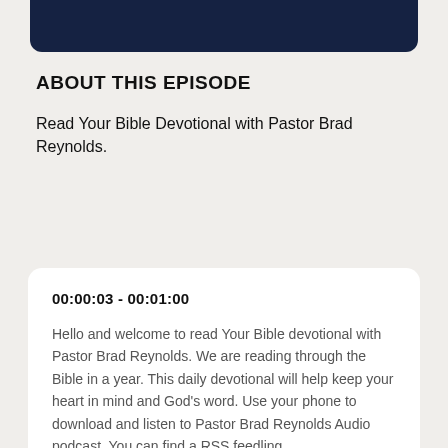[Figure (other): Dark navy blue banner at the top of the page]
ABOUT THIS EPISODE
Read Your Bible Devotional with Pastor Brad Reynolds.
00:00:03 - 00:01:00
Hello and welcome to read Your Bible devotional with Pastor Brad Reynolds. We are reading through the Bible in a year. This daily devotional will help keep your heart in mind and God's word. Use your phone to download and listen to Pastor Brad Reynolds Audio podcast. You can find a RSS feedling